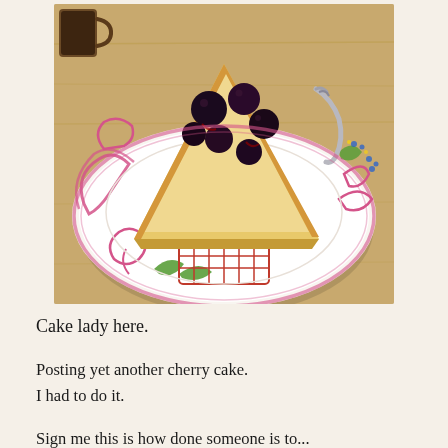[Figure (photo): A triangular slice of cherry cake with dark cherries baked in, sitting on a decorative plate with pink and green floral patterns. The plate is on a wooden surface. A silver spoon or fork handle is visible on the right side of the plate.]
Cake lady here.
Posting yet another cherry cake.
I had to do it.
Sign me this is how done someone is to...